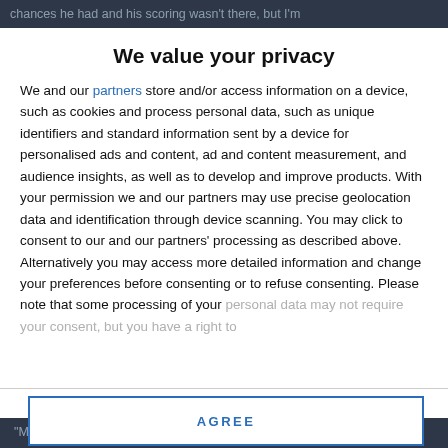chances he had and his scoring wasn't there, but I'm
We value your privacy
We and our partners store and/or access information on a device, such as cookies and process personal data, such as unique identifiers and standard information sent by a device for personalised ads and content, ad and content measurement, and audience insights, as well as to develop and improve products. With your permission we and our partners may use precise geolocation data and identification through device scanning. You may click to consent to our and our partners' processing as described above. Alternatively you may access more detailed information and change your preferences before consenting or to refuse consenting. Please note that some processing of your personal data may not require your consent, but you have a right to
AGREE
MORE OPTIONS
"Michael's just class and to see him doing his